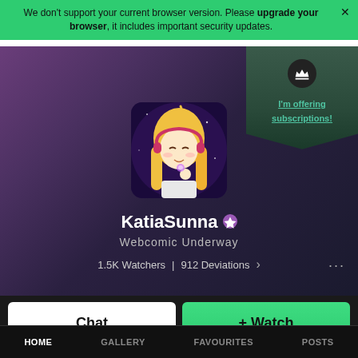We don't support your current browser version. Please upgrade your browser, it includes important security updates.
[Figure (illustration): Anime-style profile avatar: blonde girl with headphones in purple/space background]
KatiaSunna
Webcomic Underway
1.5K Watchers | 912 Deviations >
I'm offering subscriptions!
Chat
+ Watch
HOME  GALLERY  FAVOURITES  POSTS